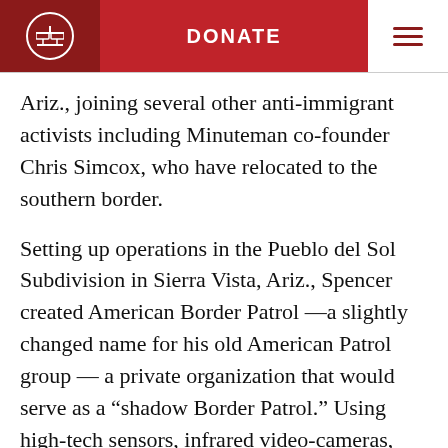DONATE
Ariz., joining several other anti-immigrant activists including Minuteman co-founder Chris Simcox, who have relocated to the southern border.
Setting up operations in the Pueblo del Sol Subdivision in Sierra Vista, Ariz., Spencer created American Border Patrol —a slightly changed name for his old American Patrol group — a private organization that would serve as a “shadow Border Patrol.” Using high-tech sensors, infrared video-cameras, and citizen